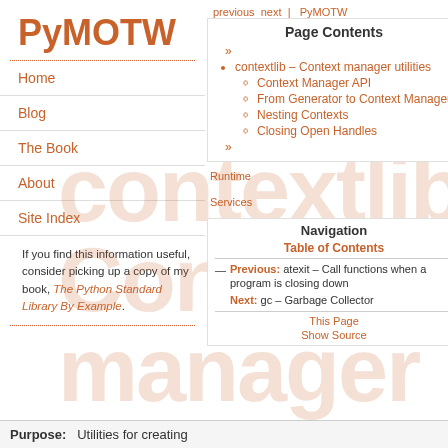PyMOTW
Home
Blog
The Book
About
Site Index
If you find this information useful, consider picking up a copy of my book, The Python Standard Library By Example.
Page Contents
contextlib – Context manager utilities
Context Manager API
From Generator to Context Manager
Nesting Contexts
Closing Open Handles
Navigation
Table of Contents
Previous: atexit – Call functions when a program is closing down
Next: gc – Garbage Collector
This Page
Show Source
contextlib Context manager utilities
Purpose: Utilities for creating